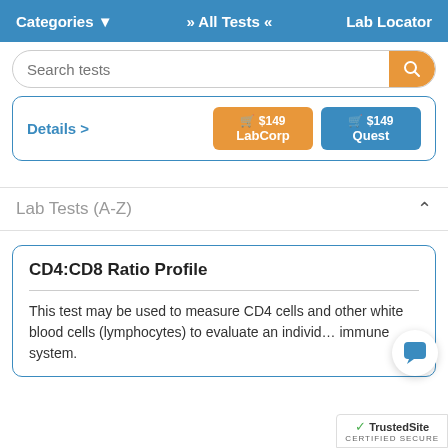Categories ▾   » All Tests «   Lab Locator
Search tests
Details >   🛒 $149 LabCorp   🛒 $149 Quest
Lab Tests (A-Z)
CD4:CD8 Ratio Profile
This test may be used to measure CD4 cells and other white blood cells (lymphocytes) to evaluate an individual's immune system.